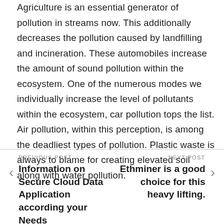Agriculture is an essential generator of pollution in streams now. This additionally decreases the pollution caused by landfilling and incineration. These automobiles increase the amount of sound pollution within the ecosystem. One of the numerous modes we individually increase the level of pollutants within the ecosystem, car pollution tops the list. Air pollution, within this perception, is among the deadliest types of pollution. Plastic waste is always to blame for creating elevated soil along with water pollution.
PREVIOUS POST | Information on Secure Cloud Data Application according your Needs | NEXT POST | Ethminer is a good choice for this heavy lifting.